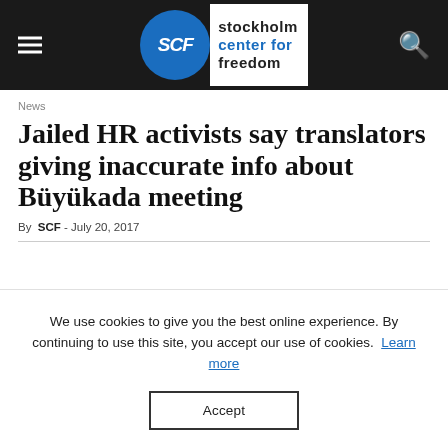SCF Stockholm Center for Freedom
News
Jailed HR activists say translators giving inaccurate info about Büyükada meeting
By SCF - July 20, 2017
We use cookies to give you the best online experience. By continuing to use this site, you accept our use of cookies. Learn more
Accept